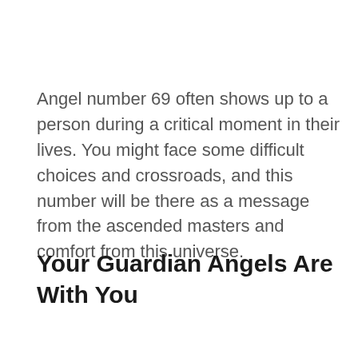Angel number 69 often shows up to a person during a critical moment in their lives. You might face some difficult choices and crossroads, and this number will be there as a message from the ascended masters and comfort from this universe.
Your Guardian Angels Are With You